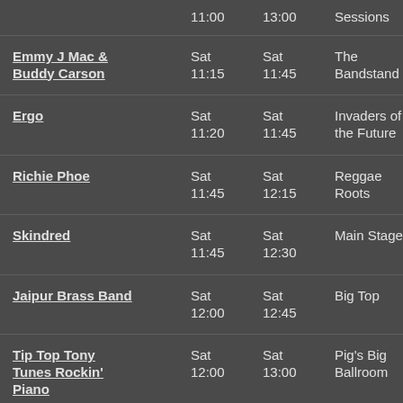| Artist | Start | End | Venue |
| --- | --- | --- | --- |
|  | 11:00 | 13:00 | Sessions |
| Emmy J Mac & Buddy Carson | Sat 11:15 | Sat 11:45 | The Bandstand |
| Ergo | Sat 11:20 | Sat 11:45 | Invaders of the Future |
| Richie Phoe | Sat 11:45 | Sat 12:15 | Reggae Roots |
| Skindred | Sat 11:45 | Sat 12:30 | Main Stage |
| Jaipur Brass Band | Sat 12:00 | Sat 12:45 | Big Top |
| Tip Top Tony Tunes Rockin' Piano | Sat 12:00 | Sat 13:00 | Pig's Big Ballroom |
| Signals | Sat 12:00 | Sat 12:45 | The Bandstand |
|  | Sat | Sat | Invaders of |